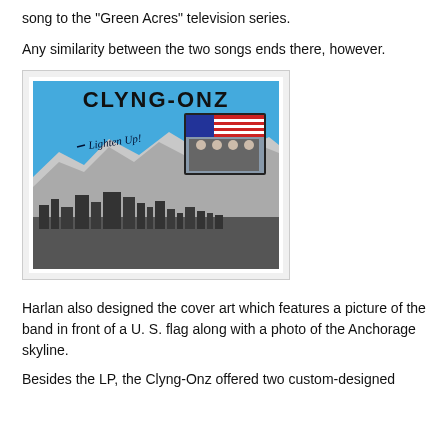song to the "Green Acres" television series.
Any similarity between the two songs ends there, however.
[Figure (photo): Album cover for Clyng-Onz 'Lighten Up!' featuring bold block text 'CLYNG-ONZ' at top, blue sky background with mountains and Anchorage skyline in black and white at bottom, and a small photo of the band in front of a U.S. flag in the upper right area. Handwritten text 'Lighten Up!' on the blue background.]
Harlan also designed the cover art which features a picture of the band in front of a U. S. flag along with a photo of the Anchorage skyline.
Besides the LP, the Clyng-Onz offered two custom-designed